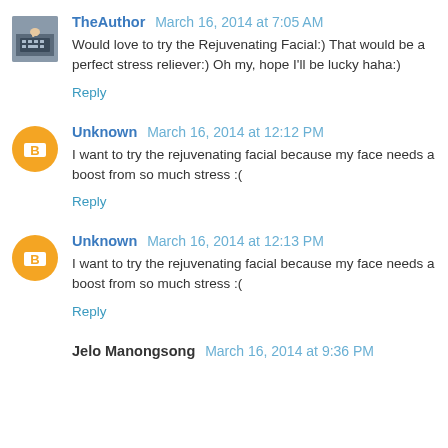TheAuthor March 16, 2014 at 7:05 AM
Would love to try the Rejuvenating Facial:) That would be a perfect stress reliever:) Oh my, hope I'll be lucky haha:)
Reply
Unknown March 16, 2014 at 12:12 PM
I want to try the rejuvenating facial because my face needs a boost from so much stress :(
Reply
Unknown March 16, 2014 at 12:13 PM
I want to try the rejuvenating facial because my face needs a boost from so much stress :(
Reply
Jelo Manongsong March 16, 2014 at 9:36 PM